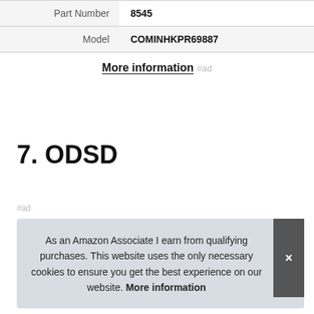|  |  |
| --- | --- |
| Part Number | 8545 |
| Model | COMINHKPR69887 |
More information #ad
7. ODSD
#ad
As an Amazon Associate I earn from qualifying purchases. This website uses the only necessary cookies to ensure you get the best experience on our website. More information